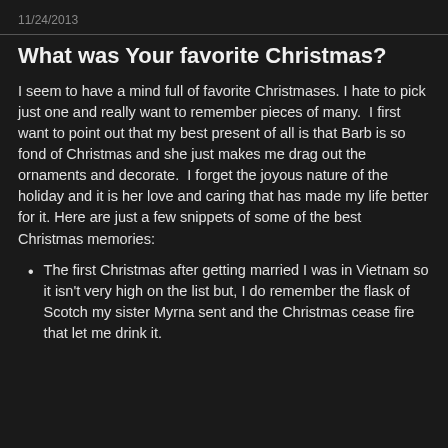11/24/2013
What was Your favorite Christmas?
I seem to have a mind full of favorite Christmases. I hate to pick just one and really want to remember pieces of many.  I first want to point out that my best present of all is that Barb is so fond of Christmas and she just makes me drag out the ornaments and decorate.  I forget the joyous nature of the holiday and it is her love and caring that has made my life better for it. Here are just a few snippets of some of the best Christmas memories:
The first Christmas after getting married I was in Vietnam so it isn't very high on the list but, I do remember the flask of Scotch my sister Myrna sent and the Christmas cease fire that let me drink it.